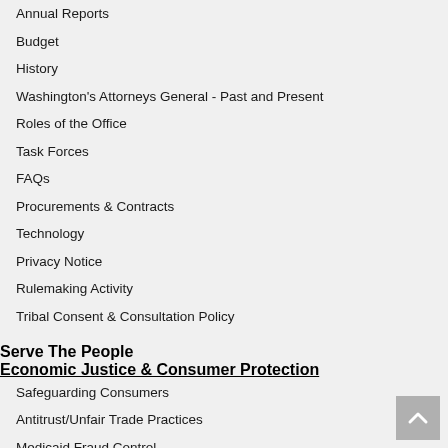Annual Reports
Budget
History
Washington's Attorneys General - Past and Present
Roles of the Office
Task Forces
FAQs
Procurements & Contracts
Technology
Privacy Notice
Rulemaking Activity
Tribal Consent & Consultation Policy
Serve The People
Economic Justice & Consumer Protection
Safeguarding Consumers
Antitrust/Unfair Trade Practices
Medicaid Fraud Control
Lemon Law
Protecting Ratepayers - Public Counsel
Protecting Youth